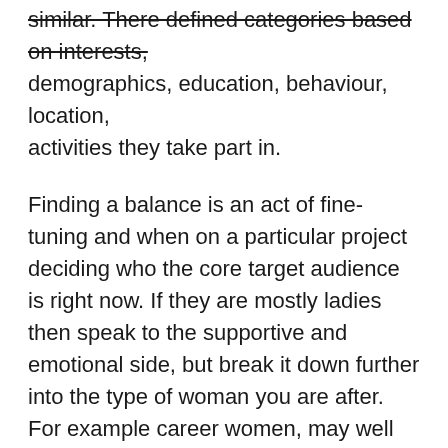similar. There defined categories based on interests, demographics, education, behaviour, location, activities they take part in.
Finding a balance is an act of fine-tuning and when on a particular project deciding who the core target audience is right now. If they are mostly ladies then speak to the supportive and emotional side, but break it down further into the type of woman you are after. For example career women, may well have taken on a lot of masculine communication habits and may abhor soft communication, however I will bet on it that they still have a girlfriend to share emotions with outside of work. If you are aiming at a group of mothers, you may well need to speak the emotional tongue of dealing with children and not always knowing what to do in any given situation.
Do you have any fun examples of where the gender divide really matters or has allowed for? We would